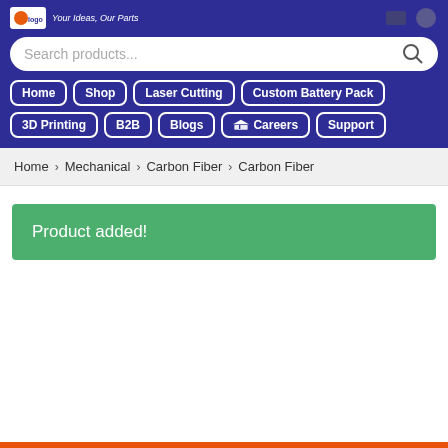Your Ideas, Our Parts
Search products...
Home
Shop
Laser Cutting
Custom Battery Pack
3D Printing
B2B
Blogs
Careers
Support
Home > Mechanical > Carbon Fiber > Carbon Fiber
Product added!